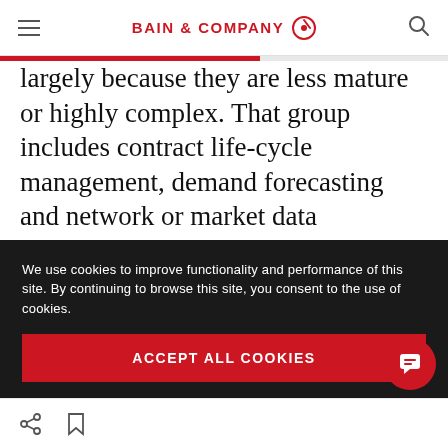BAIN & COMPANY
largely because they are less mature or highly complex. That group includes contract life-cycle management, demand forecasting and network or market data intelligence (see Figure 3d). These solutions are riskier but still important for the organization, so proceed with caution and do proper due diligence to ensure you are selecting
We use cookies to improve functionality and performance of this site. By continuing to browse this site, you consent to the use of cookies.
ACCEPT ALL COOKIES